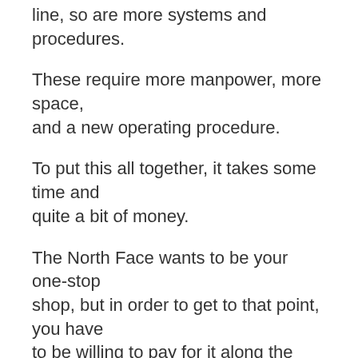line, so are more systems and procedures.
These require more manpower, more space, and a new operating procedure.
To put this all together, it takes some time and quite a bit of money.
The North Face wants to be your one-stop shop, but in order to get to that point, you have to be willing to pay for it along the way.
The larger this company becomes, you can expect to see the pricing also increase slightly.